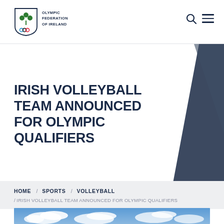Olympic Federation of Ireland
IRISH VOLLEYBALL TEAM ANNOUNCED FOR OLYMPIC QUALIFIERS
HOME / SPORTS / VOLLEYBALL / IRISH VOLLEYBALL TEAM ANNOUNCED FOR OLYMPIC QUALIFIERS
[Figure (photo): Blue sky with white clouds, bottom portion of the article hero image]